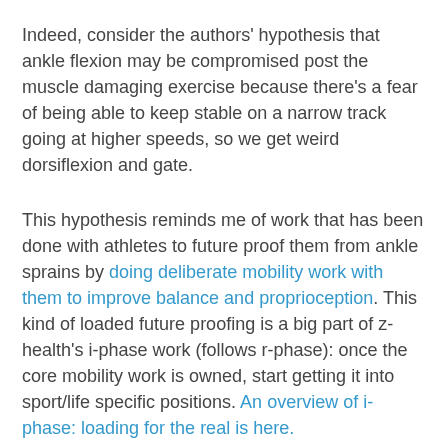Indeed, consider the authors' hypothesis that ankle flexion may be compromised post the muscle damaging exercise because there's a fear of being able to keep stable on a narrow track going at higher speeds, so we get weird dorsiflexion and gate.
This hypothesis reminds me of work that has been done with athletes to future proof them from ankle sprains by doing deliberate mobility work with them to improve balance and proprioception. This kind of loaded future proofing is a big part of z-health's i-phase work (follows r-phase): once the core mobility work is owned, start getting it into sport/life specific positions. An overview of i-phase: loading for the real is here.
Take Aways:
Pain changes movement, immediately, causing perterpations in range of motion and engagement